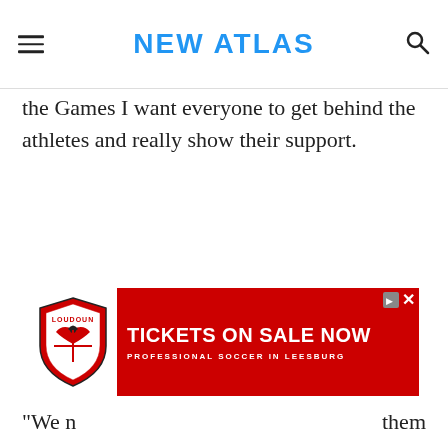NEW ATLAS
the Games I want everyone to get behind the athletes and really show their support.
[Figure (other): Advertisement banner for Loudoun professional soccer tickets on sale now in Leesburg]
"We n... them